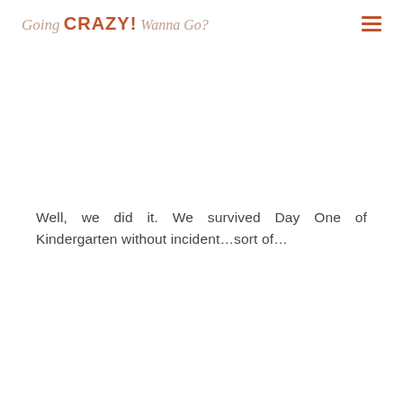Going CRAZY! Wanna Go?
Well, we did it. We survived Day One of Kindergarten without incident…sort of…